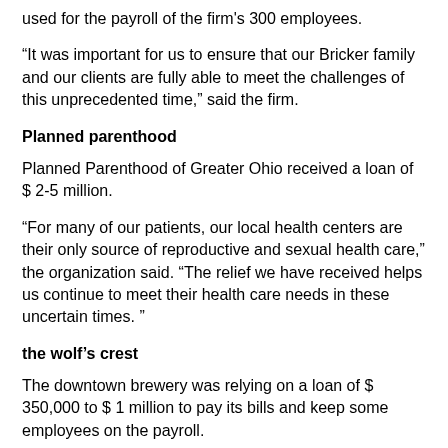used for the payroll of the firm's 300 employees.
“It was important for us to ensure that our Bricker family and our clients are fully able to meet the challenges of this unprecedented time,” said the firm.
Planned parenthood
Planned Parenthood of Greater Ohio received a loan of $ 2-5 million.
“For many of our patients, our local health centers are their only source of reproductive and sexual health care,” the organization said. “The relief we have received helps us continue to meet their health care needs in these uncertain times. ”
the wolf’s crest
The downtown brewery was relying on a loan of $ 350,000 to $ 1 million to pay its bills and keep some employees on the payroll.